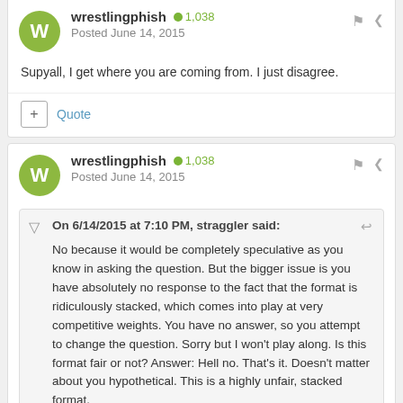wrestlingphish   1,038
Posted June 14, 2015
Supyall, I get where you are coming from. I just disagree.
+ Quote
wrestlingphish   1,038
Posted June 14, 2015
On 6/14/2015 at 7:10 PM, straggler said:
No because it would be completely speculative as you know in asking the question. But the bigger issue is you have absolutely no response to the fact that the format is ridiculously stacked, which comes into play at very competitive weights. You have no answer, so you attempt to change the question. Sorry but I won't play along. Is this format fair or not? Answer: Hell no. That's it. Doesn't matter about you hypothetical. This is a highly unfair, stacked format.